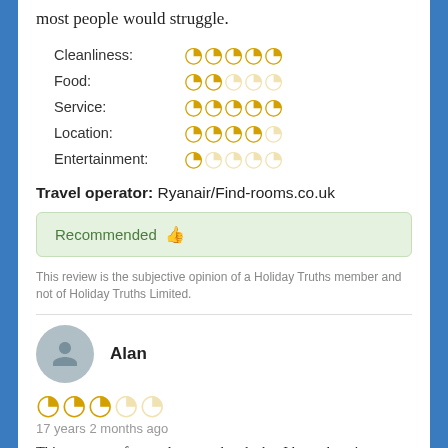most people would struggle.
Cleanliness: ★★★★★ (5/5)
Food: ★★☆☆☆ (2/5)
Service: ★★★★★ (5/5)
Location: ★★★★☆ (4/5)
Entertainment: ★☆☆☆☆ (1/5)
Travel operator: Ryanair/Find-rooms.co.uk
Recommended 👍
This review is the subjective opinion of a Holiday Truths member and not of Holiday Truths Limited.
Alan
3/5 stars — 17 years 2 months ago
This was one of many long weekends that I have done in